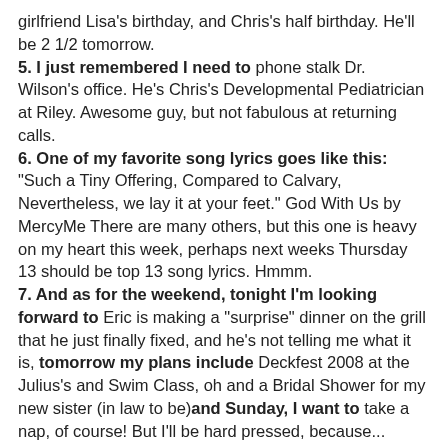girlfriend Lisa's birthday, and Chris's half birthday. He'll be 2 1/2 tomorrow.
5. I just remembered I need to phone stalk Dr. Wilson's office. He's Chris's Developmental Pediatrician at Riley. Awesome guy, but not fabulous at returning calls.
6. One of my favorite song lyrics goes like this: "Such a Tiny Offering, Compared to Calvary, Nevertheless, we lay it at your feet." God With Us by MercyMe There are many others, but this one is heavy on my heart this week, perhaps next weeks Thursday 13 should be top 13 song lyrics. Hmmm.
7. And as for the weekend, tonight I'm looking forward to Eric is making a "surprise" dinner on the grill that he just finally fixed, and he's not telling me what it is, tomorrow my plans include Deckfest 2008 at the Julius's and Swim Class, oh and a Bridal Shower for my new sister (in law to be)and Sunday, I want to take a nap, of course! But I'll be hard pressed, because...(drumroll please) I'm having a girly day with Caryn which will consist of lunch and Pedicures. We used to try to do 1st Pedi's of the sandal wearing time of year together, but time gets away from us, and instead of it being in April/May, it's now Mid-June!